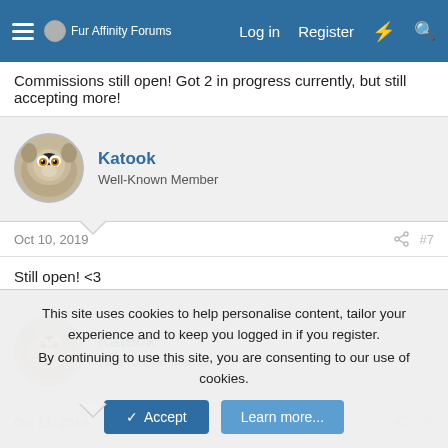Fur Affinity Forums | Log in | Register
Commissions still open! Got 2 in progress currently, but still accepting more!
Katook
Well-Known Member
Oct 10, 2019  #7
Still open! <3
Katook
Well-Known Member
Oct 11, 2019  #8
This site uses cookies to help personalise content, tailor your experience and to keep you logged in if you register.
By continuing to use this site, you are consenting to our use of cookies.